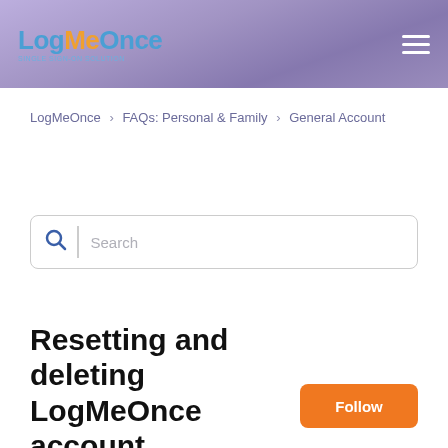LogMeOnce
LogMeOnce › FAQs: Personal & Family › General Account
Search
Resetting and deleting LogMeOnce account
Follow